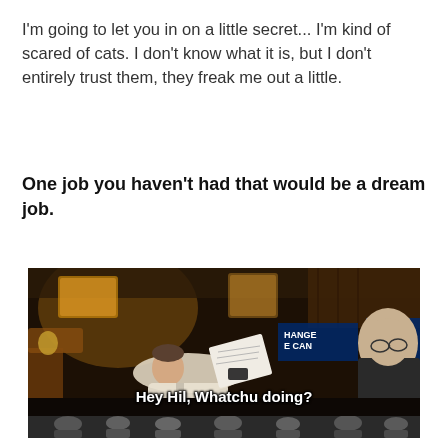I'm going to let you in on a little secret... I'm kind of scared of cats. I don't know what it is, but I don't entirely trust them, they freak me out a little.
One job you haven't had that would be a dream job.
[Figure (photo): A dark scene showing a man reclining and reading a paper with 'CHANGE WE CAN BELIEVE IN' campaign signs visible in the background. Another figure visible at right. Subtitle text reads: Hey Hil, Whatchu doing? A second strip of photo visible below showing people.]